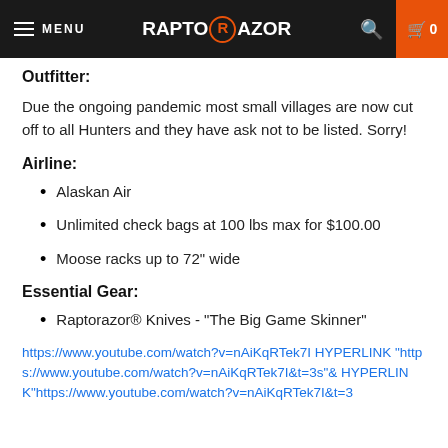MENU | RAPTORAZOR | 🔍 | 🛒 0
Outfitter:
Due the ongoing pandemic most small villages are now cut off to all Hunters and they have ask not to be listed. Sorry!
Airline:
Alaskan Air
Unlimited check bags at 100 lbs max for $100.00
Moose racks up to 72" wide
Essential Gear:
Raptorazor® Knives - "The Big Game Skinner"
https://www.youtube.com/watch?v=nAiKqRTek7I HYPERLINK "https://www.youtube.com/watch?v=nAiKqRTek7I&t=3s"& HYPERLINK"https://www.youtube.com/watch?v=nAiKqRTek7I&t=3"